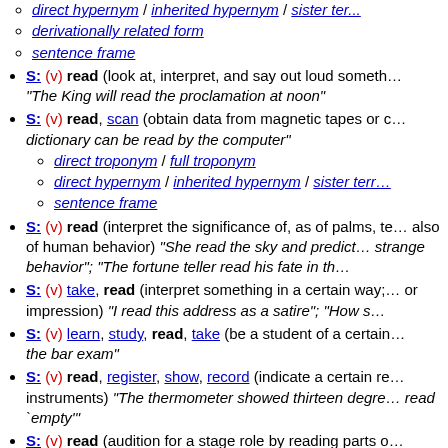direct hypernym / inherited hypernym / sister term
derivationally related form
sentence frame
S: (v) read (look at, interpret, and say out loud something that is written or printed) "The King will read the proclamation at noon"
S: (v) read, scan (obtain data from magnetic tapes or other sources) ...dictionary can be read by the computer"
direct troponym / full troponym
direct hypernym / inherited hypernym / sister term
sentence frame
S: (v) read (interpret the significance of, as of palms, tea leaves, intestines, also of human behavior) "She read the sky and predicted...strange behavior"; "The fortune teller read his fate in th..."
S: (v) take, read (interpret something in a certain way; convey a particular meaning or impression) "I read this address as a satire"; "How s..."
S: (v) learn, study, read, take (be a student of a certain...) "the bar exam"
S: (v) read, register, show, record (indicate a certain reading; of gauges and instruments) "The thermometer showed thirteen degre...read `empty'"
S: (v) read (audition for a stage role by reading parts of a script) `Julius Caesar' at Stratford this year"
S: (v) read (to hear and understand) "I read you loud a..."
S: (v) understand, read, interpret, translate (make sense of a language) "...understands French"; "Can you read Greek?"
direct hypernym / inherited hypernym / sister term